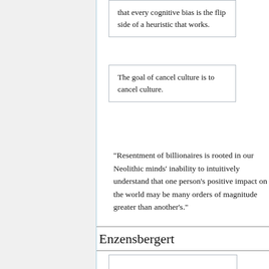that every cognitive bias is the flip side of a heuristic that works.
The goal of cancel culture is to cancel culture.
"Resentment of billionaires is rooted in our Neolithic minds' inability to intuitively understand that one person's positive impact on the world may be many orders of magnitude greater than another's."
Enzensbergert